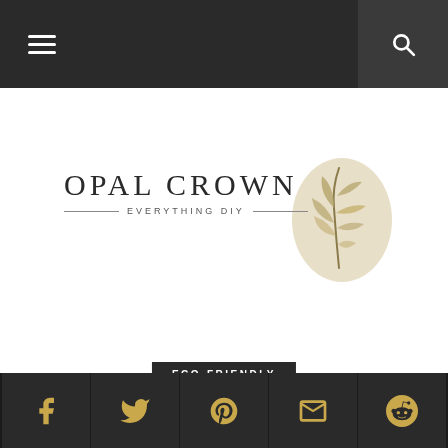Navigation bar with hamburger menu and search icon
[Figure (logo): Opal Crown — Everything DIY logo with decorative botanical plant illustration on beige oval background]
ECO-FRIENDLY
HOW TO STORE
Social sharing bar with Facebook, Twitter, Pinterest, Gmail, Reddit icons